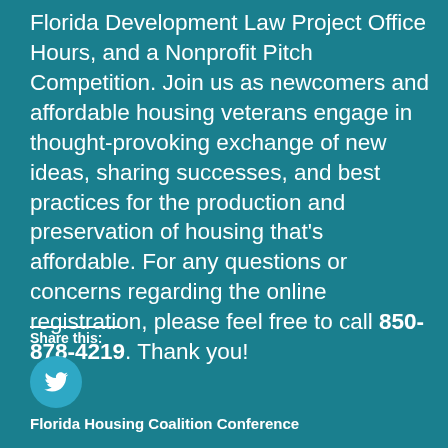Florida Development Law Project Office Hours, and a Nonprofit Pitch Competition. Join us as newcomers and affordable housing veterans engage in thought-provoking exchange of new ideas, sharing successes, and best practices for the production and preservation of housing that's affordable. For any questions or concerns regarding the online registration, please feel free to call 850-878-4219. Thank you!
Share this:
[Figure (logo): Twitter/X social media share button — circular cyan button with white Twitter bird icon]
Florida Housing Coalition Conference